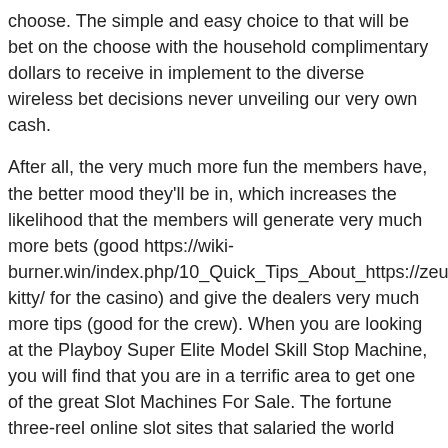choose. The simple and easy choice to that will be bet on the choose with the household complimentary dollars to receive in implement to the diverse wireless bet decisions never unveiling our very own cash.
After all, the very much more fun the members have, the better mood they'll be in, which increases the likelihood that the members will generate very much more bets (good https://wiki-burner.win/index.php/10_Quick_Tips_About_https://zeusslotma kitty/ for the casino) and give the dealers very much more tips (good for the crew). When you are looking at the Playboy Super Elite Model Skill Stop Machine, you will find that you are in a terrific area to get one of the great Slot Machines For Sale. The fortune three-reel online slot sites that salaried the world evidence jackpot of more than £39 million has about 50 million combinations. Portable Gambling house Assistance is 1 of the best online gambling house web sites for using popular North american gambling house game titles on your cellular!